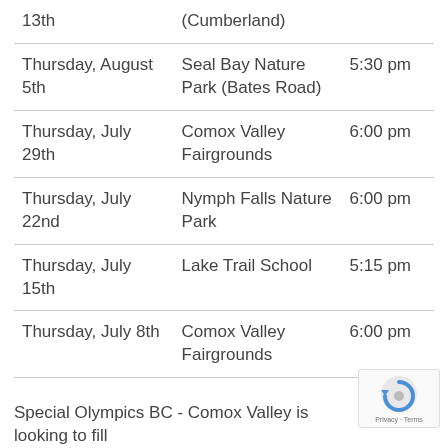| 13th | (Cumberland) |  |
| Thursday, August 5th | Seal Bay Nature Park (Bates Road) | 5:30 pm |
| Thursday, July 29th | Comox Valley Fairgrounds | 6:00 pm |
| Thursday, July 22nd | Nymph Falls Nature Park | 6:00 pm |
| Thursday, July 15th | Lake Trail School | 5:15 pm |
| Thursday, July 8th | Comox Valley Fairgrounds | 6:00 pm |
Special Olympics BC - Comox Valley is looking to fill